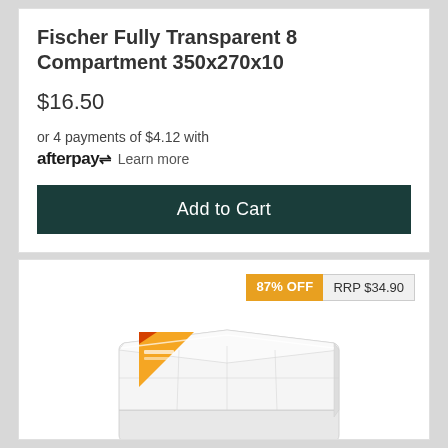Fischer Fully Transparent 8 Compartment 350x270x10
$16.50
or 4 payments of $4.12 with afterpay Learn more
Add to Cart
87% OFF  RRP $34.90
[Figure (photo): Fischer Fully Transparent 8 Compartment storage box 350x270x10, shown from a slight angle above, white/clear plastic with orange and red product label on corner]